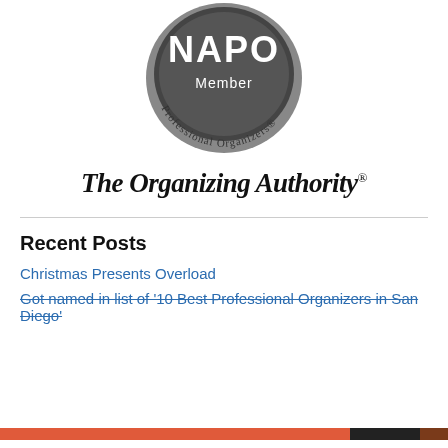[Figure (logo): NAPO Member Professional Organizers circular badge/logo in dark gray and white]
The Organizing Authority®
Recent Posts
Christmas Presents Overload
Got named in list of '10 Best Professional Organizers in San Diego'
Privacy & Cookies: This site uses cookies. By continuing to use this website, you agree to their use. To find out more, including how to control cookies, see here: Cookie Policy
Close and accept